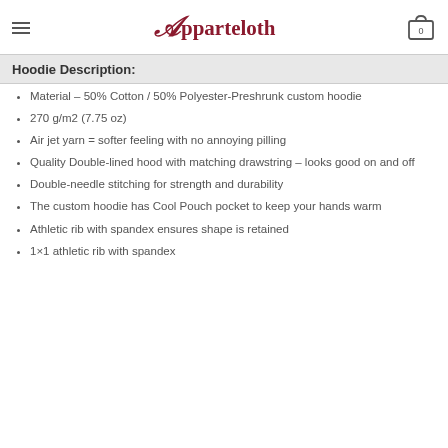Apparteloth
Hoodie Description:
Material – 50% Cotton / 50% Polyester-Preshrunk custom hoodie
270 g/m2 (7.75 oz)
Air jet yarn = softer feeling with no annoying pilling
Quality Double-lined hood with matching drawstring – looks good on and off
Double-needle stitching for strength and durability
The custom hoodie has Cool Pouch pocket to keep your hands warm
Athletic rib with spandex ensures shape is retained
1×1 athletic rib with spandex